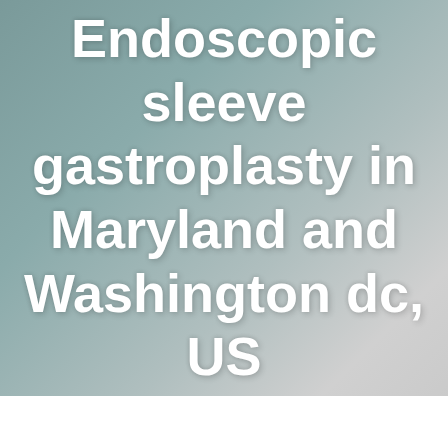Endoscopic sleeve gastroplasty in Maryland and Washington dc, US